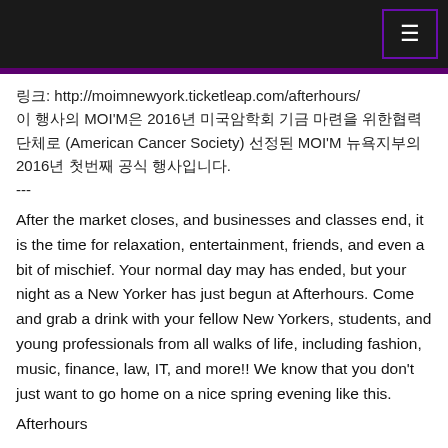Header bar with menu icon
링크: http://moimnewyork.ticketleap.com/afterhours/
이 행사의 MOI'M은 2016년 미국암학회 기금 마련을 위한협력단체로 (American Cancer Society) 선정된 MOI'M 뉴욕지부의 2016년 첫번째 공식 행사입니다.
---
After the market closes, and businesses and classes end, it is the time for relaxation, entertainment, friends, and even a bit of mischief. Your normal day may has ended, but your night as a New Yorker has just begun at Afterhours. Come and grab a drink with your fellow New Yorkers, students, and young professionals from all walks of life, including fashion, music, finance, law, IT, and more!! We know that you don't just want to go home on a nice spring evening like this.
Afterhours